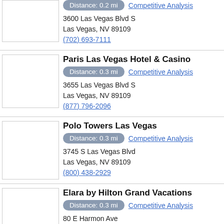Distance: 0.2 mi  Competitive Analysis
3600 Las Vegas Blvd S
Las Vegas, NV 89109
(702) 693-7111
Paris Las Vegas Hotel & Casino
Distance: 0.3 mi  Competitive Analysis
3655 Las Vegas Blvd S
Las Vegas, NV 89109
(877) 796-2096
Polo Towers Las Vegas
Distance: 0.3 mi  Competitive Analysis
3745 S Las Vegas Blvd
Las Vegas, NV 89109
(800) 438-2929
Elara by Hilton Grand Vacations
Distance: 0.3 mi  Competitive Analysis
80 E Harmon Ave
Las Vegas, NV 89109
(702) 669-6700
The Cromwell Las Vegas